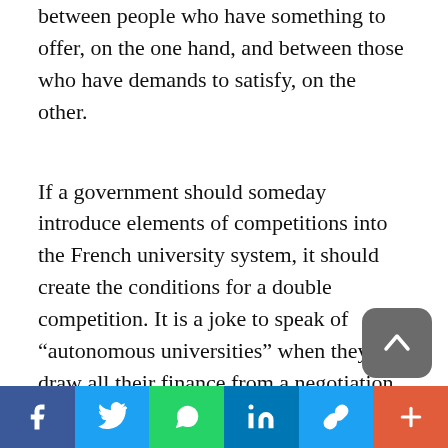between people who have something to offer, on the one hand, and between those who have demands to satisfy, on the other.
If a government should someday introduce elements of competitions into the French university system, it should create the conditions for a double competition. It is a joke to speak of “autonomous universities” when they draw all their finance from a negotiation with the ministry around “contracts of objectives”. They are perhaps